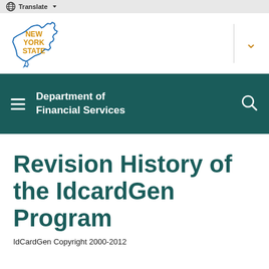Translate
[Figure (logo): New York State logo with outline of NY state in blue and text NEW YORK STATE in orange/gold]
Department of Financial Services
Revision History of the IdcardGen Program
IdCardGen Copyright 2000-2012